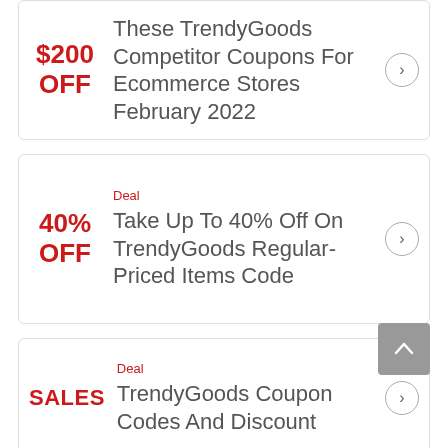$200 OFF — These TrendyGoods Competitor Coupons For Ecommerce Stores February 2022
Deal — 40% OFF — Take Up To 40% Off On TrendyGoods Regular-Priced Items Code
Deal — SALES — TrendyGoods Coupon Codes And Discount